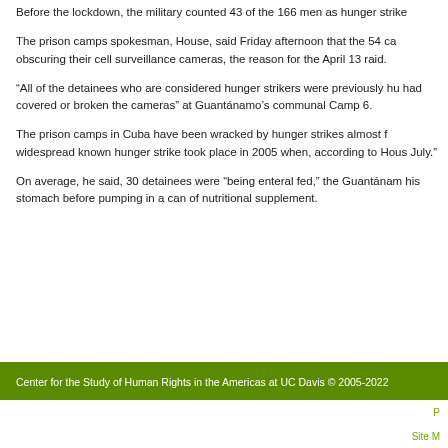Before the lockdown, the military counted 43 of the 166 men as hunger strike
The prison camps spokesman, House, said Friday afternoon that the 54 ca obscuring their cell surveillance cameras, the reason for the April 13 raid.
“All of the detainees who are considered hunger strikers were previously hu had covered or broken the cameras” at Guantánamo’s communal Camp 6.
The prison camps in Cuba have been wracked by hunger strikes almost f widespread known hunger strike took place in 2005 when, according to Hous July.”
On average, he said, 30 detainees were “being enteral fed,” the Guantánam his stomach before pumping in a can of nutritional supplement.
Center for the Study of Human Rights in the Americas at UC Davis © 2005-2022
P...
Site M...